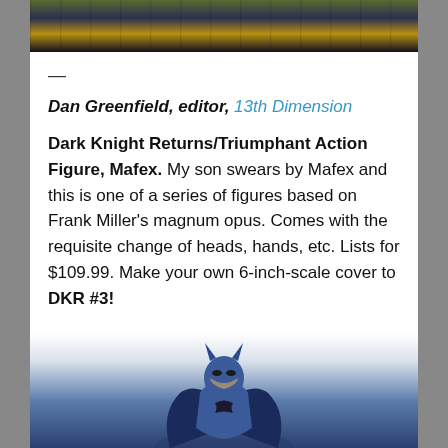[Figure (photo): Top portion of a comic book collage image showing colorful comic panels]
—
Dan Greenfield, editor, 13th Dimension
Dark Knight Returns/Triumphant Action Figure, Mafex. My son swears by Mafex and this is one of a series of figures based on Frank Miller's magnum opus. Comes with the requisite change of heads, hands, etc. Lists for $109.99. Make your own 6-inch-scale cover to DKR #3!
[Figure (photo): Bottom portion showing a Batman action figure in blue costume from the Dark Knight Returns]